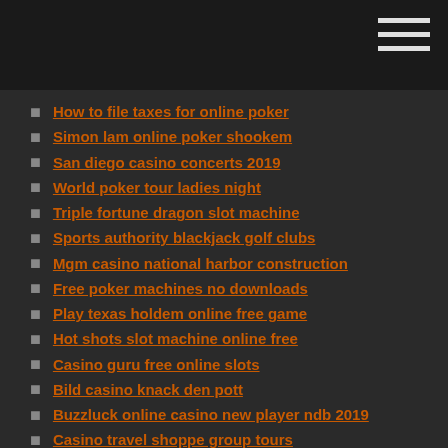How to file taxes for online poker
Simon lam online poker shookem
San diego casino concerts 2019
World poker tour ladies night
Triple fortune dragon slot machine
Sports authority blackjack golf clubs
Mgm casino national harbor construction
Free poker machines no downloads
Play texas holdem online free game
Hot shots slot machine online free
Casino guru free online slots
Bild casino knack den pott
Buzzluck online casino new player ndb 2019
Casino travel shoppe group tours